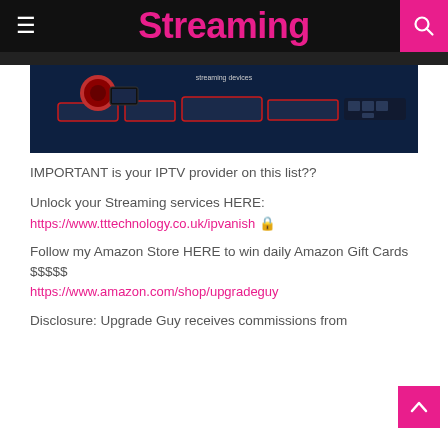Streaming
[Figure (photo): Hero image showing streaming devices including Fire Stick, set-top boxes, and media players arranged on a dark blue background with red highlights]
IMPORTANT is your IPTV provider on this list??
Unlock your Streaming services HERE:
https://www.tttechnology.co.uk/ipvanish 🔒
Follow my Amazon Store HERE to win daily Amazon Gift Cards $$$$$
https://www.amazon.com/shop/upgradeguy
Disclosure: Upgrade Guy receives commissions from